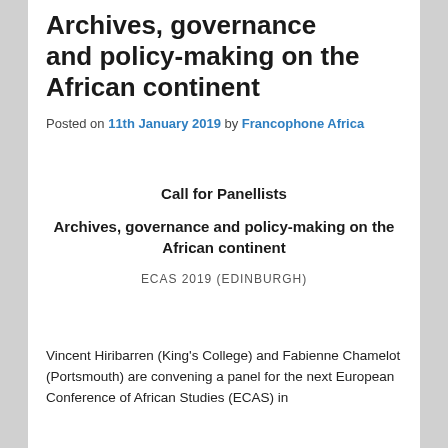Archives, governance and policy-making on the African continent
Posted on 11th January 2019 by Francophone Africa
Call for Panellists
Archives, governance and policy-making on the African continent
ECAS 2019 (EDINBURGH)
Vincent Hiribarren (King's College) and Fabienne Chamelot (Portsmouth) are convening a panel for the next European Conference of African Studies (ECAS) in